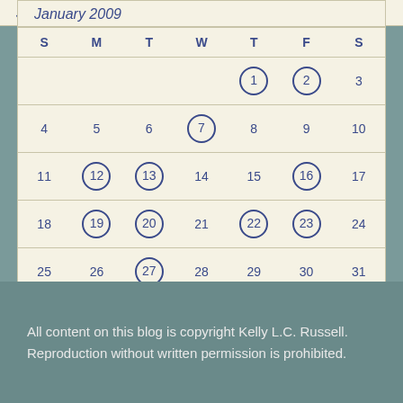January 2009
| S | M | T | W | T | F | S |
| --- | --- | --- | --- | --- | --- | --- |
|  |  |  |  | 1 | 2 | 3 |
| 4 | 5 | 6 | 7 | 8 | 9 | 10 |
| 11 | 12 | 13 | 14 | 15 | 16 | 17 |
| 18 | 19 | 20 | 21 | 22 | 23 | 24 |
| 25 | 26 | 27 | 28 | 29 | 30 | 31 |
« Dec  Feb »
All content on this blog is copyright Kelly L.C. Russell. Reproduction without written permission is prohibited.